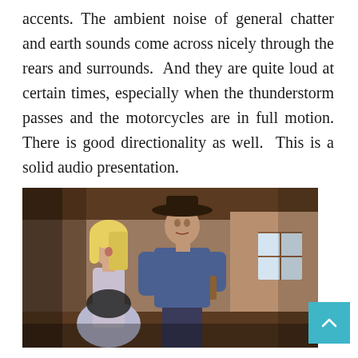accents. The ambient noise of general chatter and earth sounds come across nicely through the rears and surrounds.  And they are quite loud at certain times, especially when the thunderstorm passes and the motorcycles are in full motion. There is good directionality as well.  This is a solid audio presentation.
[Figure (photo): Movie still showing a man wearing a cowboy hat and blue shirt standing with a woman in an indoor rustic setting]